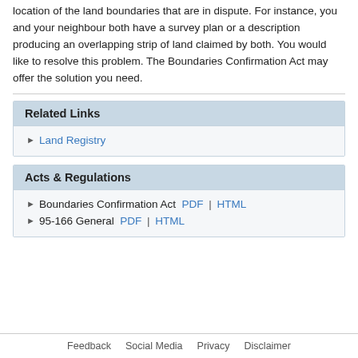location of the land boundaries that are in dispute. For instance, you and your neighbour both have a survey plan or a description producing an overlapping strip of land claimed by both. You would like to resolve this problem. The Boundaries Confirmation Act may offer the solution you need.
Related Links
Land Registry
Acts & Regulations
Boundaries Confirmation Act PDF | HTML
95-166 General PDF | HTML
Feedback   Social Media   Privacy   Disclaimer